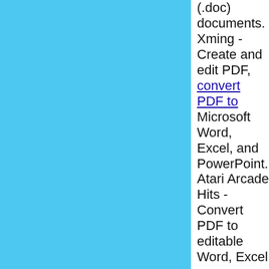[Figure (other): Solid sky-blue rectangle filling the left portion of the page]
(.doc) documents. Xming - Create and edit PDF, convert PDF to Microsoft Word, Excel, and PowerPoint. Atari Arcade Hits - Convert PDF to editable Word, Excel